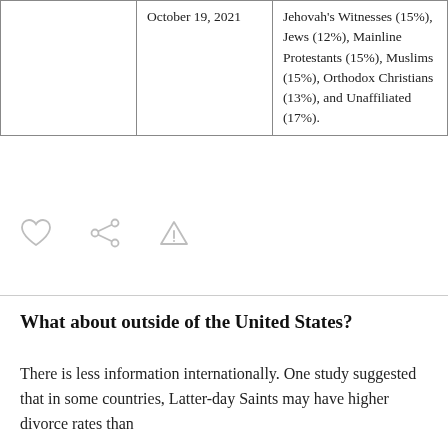|  |  |  |
| --- | --- | --- |
|  | October 19, 2021 | Jehovah's Witnesses (15%), Jews (12%), Mainline Protestants (15%), Muslims (15%), Orthodox Christians (13%), and Unaffiliated (17%). |
[Figure (infographic): Three UI icons: a heart (like/favorite), a share/network icon, and a warning/report triangle icon]
What about outside of the United States?
There is less information internationally. One study suggested that in some countries, Latter-day Saints may have higher divorce rates than